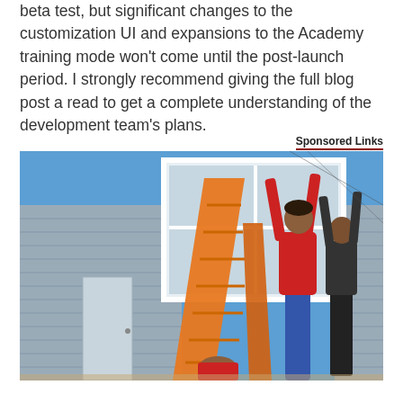beta test, but significant changes to the customization UI and expansions to the Academy training mode won't come until the post-launch period. I strongly recommend giving the full blog post a read to get a complete understanding of the development team's plans.
Sponsored Links
[Figure (photo): Outdoor photo of people installing or lifting a large white window frame on the exterior of a gray-sided house. An orange step ladder stands in the foreground. A person in a red shirt and blue jeans reaches up to hold the window frame. Another person in dark clothing assists. Blue sky visible in background.]